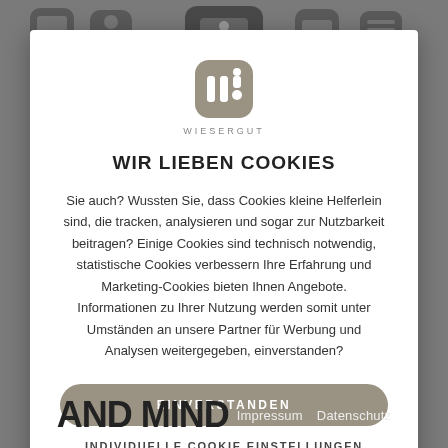[Figure (screenshot): Website background with gray overlay showing app-style icons at the top and partial text 'AND MIND' at the bottom with Impressum and Datenschutz links]
[Figure (logo): Wiesergut logo: rounded square icon with stylized 'wi' character in gray/taupe color, with text WIESERGUT below]
WIR LIEBEN COOKIES
Sie auch? Wussten Sie, dass Cookies kleine Helferlein sind, die tracken, analysieren und sogar zur Nutzbarkeit beitragen? Einige Cookies sind technisch notwendig, statistische Cookies verbessern Ihre Erfahrung und Marketing-Cookies bieten Ihnen Angebote. Informationen zu Ihrer Nutzung werden somit unter Umständen an unsere Partner für Werbung und Analysen weitergegeben, einverstanden?
EINVERSTANDEN
INDIVIDUELLE COOKIE EINSTELLUNGEN
AND MIND    Impressum    Datenschutz